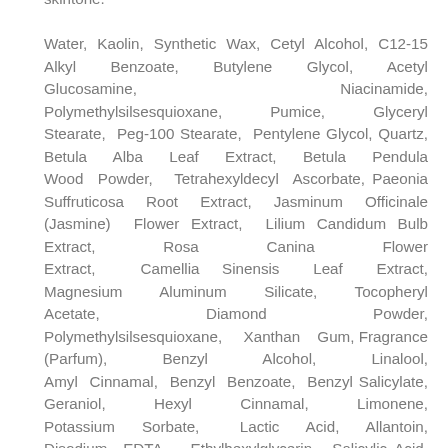skintone. Water, Kaolin, Synthetic Wax, Cetyl Alcohol, C12-15 Alkyl Benzoate, Butylene Glycol, Acetyl Glucosamine, Niacinamide, Polymethylsilsesquioxane, Pumice, Glyceryl Stearate, Peg-100 Stearate, Pentylene Glycol, Quartz, Betula Alba Leaf Extract, Betula Pendula Wood Powder, Tetrahexyldecyl Ascorbate, Paeonia Suffruticosa Root Extract, Jasminum Officinale (Jasmine) Flower Extract, Lilium Candidum Bulb Extract, Rosa Canina Flower Extract, Camellia Sinensis Leaf Extract, Magnesium Aluminum Silicate, Tocopheryl Acetate, Diamond Powder, Polymethylsilsesquioxane, Xanthan Gum, Fragrance (Parfum), Benzyl Alcohol, Linalool, Amyl Cinnamal, Benzyl Benzoate, Benzyl Salicylate, Geraniol, Hexyl Cinnamal, Limonene, Potassium Sorbate, Lactic Acid, Allantoin, Disodium EDTA, Ethylhexylglycerin, Salicylic Acid, Glycerin, Ribes Nigrum (Black Currant) Seed Oil, Octyldodecyl Oleate, Octyldodecanol...